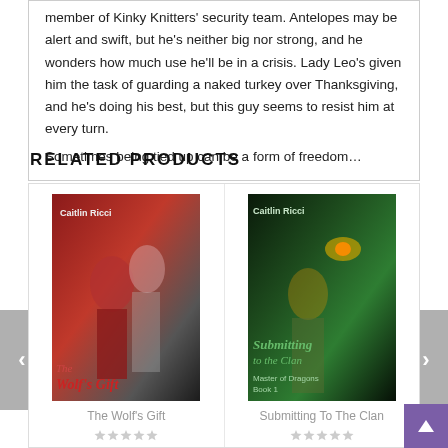member of Kinky Knitters' security team. Antelopes may be alert and swift, but he's neither big nor strong, and he wonders how much use he'll be in a crisis. Lady Leo's given him the task of guarding a naked turkey over Thanksgiving, and he's doing his best, but this guy seems to resist him at every turn.
Sometimes being tied up can be a form of freedom…
RELATED PRODUCTS
[Figure (photo): Book cover for 'The Wolf's Gift' by Caitlin Ricci, showing three figures in red tones]
The Wolf's Gift
[Figure (photo): Book cover for 'Submitting To The Clan: Master of Dragons Book 1' by Caitlin Ricci, showing a man in green tones]
Submitting To The Clan